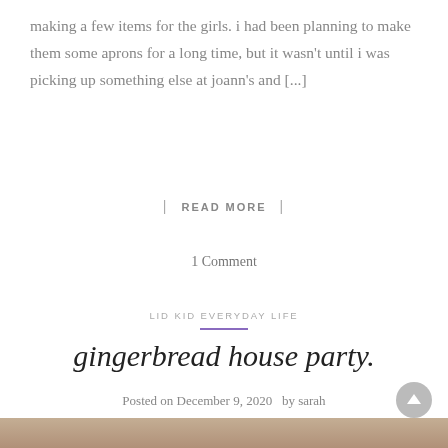making a few items for the girls. i had been planning to make them some aprons for a long time, but it wasn't until i was picking up something else at joann's and [...]
| READ MORE |
1 Comment
LID KID EVERYDAY LIFE
gingerbread house party.
Posted on December 9, 2020  by sarah
[Figure (photo): Photo of gingerbread houses decorated with colorful candies and icing on a table]